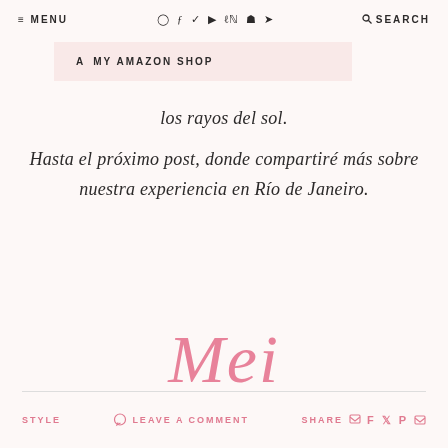≡ MENU | [social icons] | 🔍 SEARCH
a MY AMAZON SHOP
los rayos del sol.
Hasta el próximo post, donde compartiré más sobre nuestra experiencia en Río de Janeiro.
[Figure (illustration): Cursive signature reading 'Mei' in pink/rose color]
STYLE   💬 LEAVE A COMMENT   SHARE f 𝕏 p ✉